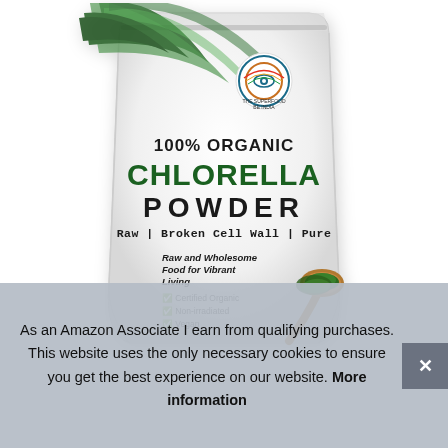[Figure (photo): Product photo of a white stand-up pouch bag labeled '100% ORGANIC CHLORELLA POWDER — Raw | Broken Cell Wall | Pure'. The bag shows a circular logo, palm leaves in the background, and a wooden spoon with green powder. Text on bag: 'Raw and Wholesome Food for Vibrant Living', checkmarks for 'Certified Organic', 'Non-irradiated', 'Vegan'.]
As an Amazon Associate I earn from qualifying purchases. This website uses the only necessary cookies to ensure you get the best experience on our website. More information